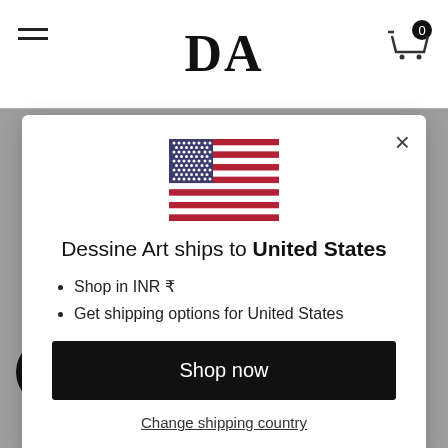DA
[Figure (screenshot): US flag emoji in modal dialog]
Dessine Art ships to United States
Shop in INR ₹
Get shipping options for United States
Shop now
Change shipping country
Frame